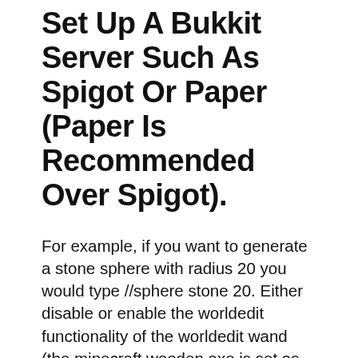Set Up A Bukkit Server Such As Spigot Or Paper (Paper Is Recommended Over Spigot).
For example, if you want to generate a stone sphere with radius 20 you would type //sphere stone 20. Either disable or enable the worldedit functionality of the worldedit wand (the minecraft wooden axe is set as the default wand). To put it simply, world edit is a powerful modifying tool to modify the entirety of the world in minecraft.
Download Worldedit From This Page (See The Files